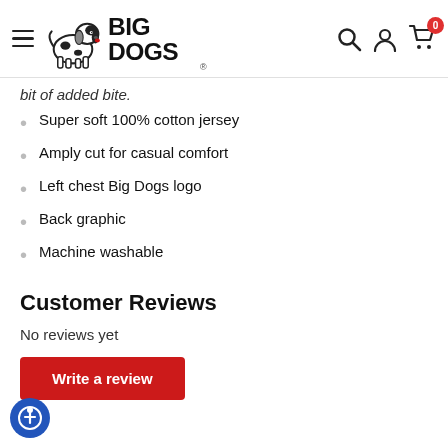Big Dogs navigation header with logo, search, account, and cart icons
bit of added bite.
Super soft 100% cotton jersey
Amply cut for casual comfort
Left chest Big Dogs logo
Back graphic
Machine washable
Customer Reviews
No reviews yet
Write a review